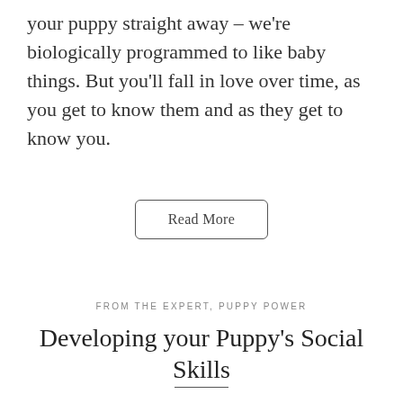your puppy straight away – we're biologically programmed to like baby things. But you'll fall in love over time, as you get to know them and as they get to know you.
Read More
FROM THE EXPERT, PUPPY POWER
Developing your Puppy's Social Skills